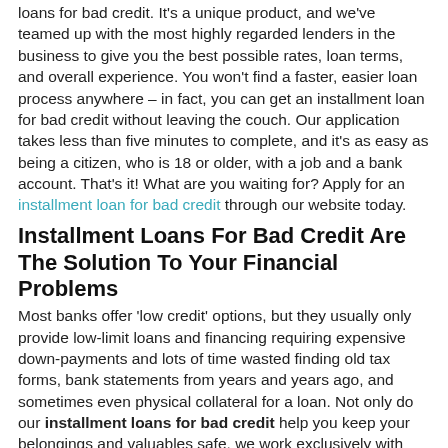loans for bad credit. It's a unique product, and we've teamed up with the most highly regarded lenders in the business to give you the best possible rates, loan terms, and overall experience. You won't find a faster, easier loan process anywhere – in fact, you can get an installment loan for bad credit without leaving the couch. Our application takes less than five minutes to complete, and it's as easy as being a citizen, who is 18 or older, with a job and a bank account. That's it! What are you waiting for? Apply for an installment loan for bad credit through our website today.
Installment Loans For Bad Credit Are The Solution To Your Financial Problems
Most banks offer 'low credit' options, but they usually only provide low-limit loans and financing requiring expensive down-payments and lots of time wasted finding old tax forms, bank statements from years and years ago, and sometimes even physical collateral for a loan. Not only do our installment loans for bad credit help you keep your belongings and valuables safe, we work exclusively with lenders who have years and years of experience helping people with bad credit get financing. So once you've gotten